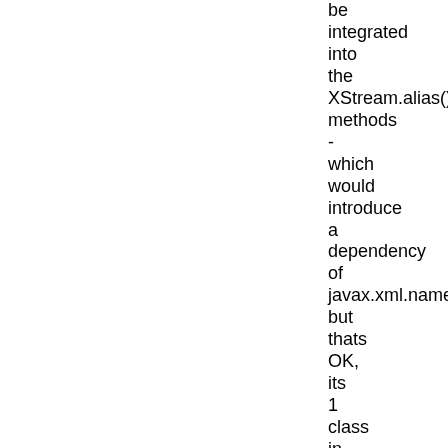be integrated into the XStream.alias() methods - which would introduce a dependency of javax.xml.namespace.QN but thats OK, its 1 class in 1 package which we could ship